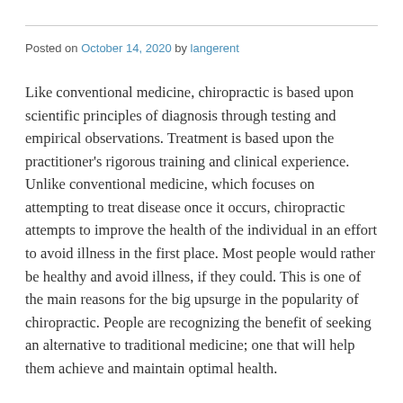Posted on October 14, 2020 by langerent
Like conventional medicine, chiropractic is based upon scientific principles of diagnosis through testing and empirical observations. Treatment is based upon the practitioner's rigorous training and clinical experience. Unlike conventional medicine, which focuses on attempting to treat disease once it occurs, chiropractic attempts to improve the health of the individual in an effort to avoid illness in the first place. Most people would rather be healthy and avoid illness, if they could. This is one of the main reasons for the big upsurge in the popularity of chiropractic. People are recognizing the benefit of seeking an alternative to traditional medicine; one that will help them achieve and maintain optimal health.